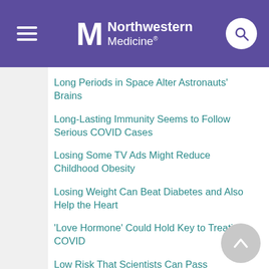Northwestern Medicine
Long Periods in Space Alter Astronauts' Brains
Long-Lasting Immunity Seems to Follow Serious COVID Cases
Losing Some TV Ads Might Reduce Childhood Obesity
Losing Weight Can Beat Diabetes and Also Help the Heart
'Love Hormone' Could Hold Key to Treating COVID
Low Risk That Scientists Can Pass Coronavirus to North American Bats
Low-Salt 'DASH' Diet Good for Total Heart Health